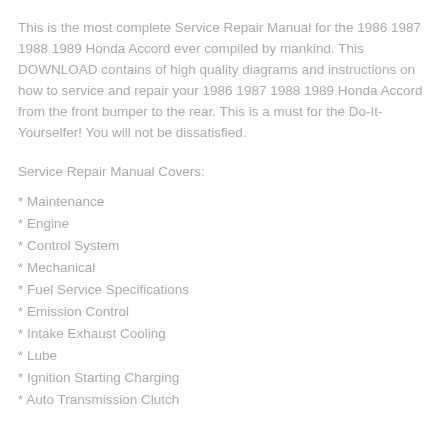This is the most complete Service Repair Manual for the 1986 1987 1988 1989 Honda Accord ever compiled by mankind. This DOWNLOAD contains of high quality diagrams and instructions on how to service and repair your 1986 1987 1988 1989 Honda Accord from the front bumper to the rear. This is a must for the Do-It-Yourselfer! You will not be dissatisfied.
Service Repair Manual Covers:
* Maintenance
* Engine
* Control System
* Mechanical
* Fuel Service Specifications
* Emission Control
* Intake Exhaust Cooling
* Lube
* Ignition Starting Charging
* Auto Transmission Clutch